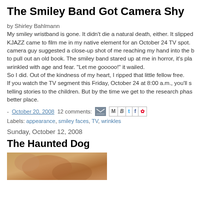The Smiley Band Got Camera Shy
by Shirley Bahlmann
My smiley wristband is gone. It didn't die a natural death, either. It slipped KJAZZ came to film me in my native element for an October 24 TV spot. camera guy suggested a close-up shot of me reaching my hand into the b to pull out an old book. The smiley band stared up at me in horror, it's pla wrinkled with age and fear. "Let me gooooo!" it wailed.
So I did. Out of the kindness of my heart, I ripped that little fellow free.
If you watch the TV segment this Friday, October 24 at 8:00 a.m., you'll s telling stories to the children. But by the time we get to the research phas better place.
- October 20, 2008   12 comments:
Labels: appearance, smiley faces, TV, wrinkles
Sunday, October 12, 2008
The Haunted Dog
[Figure (photo): Partial photo of a dog, orange/brown colored, cropped at bottom of page]